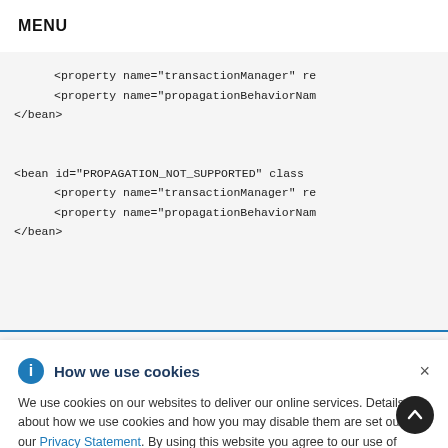MENU
<property name="transactionManager" re
    <property name="propagationBehaviorNam
</bean>

<bean id="PROPAGATION_NOT_SUPPORTED" class
    <property name="transactionManager" re
    <property name="propagationBehaviorNam
</bean>
or. -->
class="org
lanager" re

EW" class=
lanager" r
<property name="propagationBehaviorNam
[Figure (screenshot): Cookie consent popup overlay with title 'How we use cookies', info icon, close button, and body text explaining cookie usage with a Privacy Statement link.]
How we use cookies
We use cookies on our websites to deliver our online services. Details about how we use cookies and how you may disable them are set out in our Privacy Statement. By using this website you agree to our use of cookies.